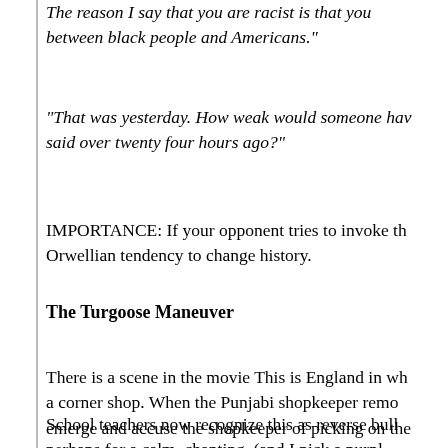The reason I say that you are racist is that you ... between black people and Americans."
"That was yesterday. How weak would someone have ... said over twenty four hours ago?"
IMPORTANCE: If your opponent tries to invoke the ... Orwellian tendency to change history.
The Turgoose Maneuver
There is a scene in the movie This is England in wh... a corner shop. When the Punjabi shopkeeper remo... emerge and accuse the shopkeeper of picking on the...
School teachers now recognize this as reverse bull... perhaps for a calm, cheating. (and I pick a purpl...